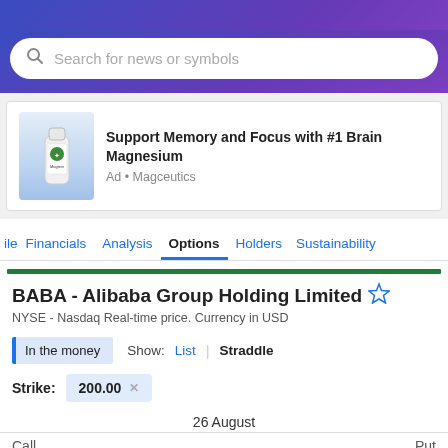[Figure (screenshot): Purple gradient header bar at top of Yahoo Finance page]
Search for news or symbols
[Figure (photo): Advertisement for Magceutics Brain Magnesium supplement showing a white bottle with blue accents]
Support Memory and Focus with #1 Brain Magnesium
Ad • Magceutics
ile  Financials  Analysis  Options  Holders  Sustainability
BABA - Alibaba Group Holding Limited
NYSE - Nasdaq Real-time price. Currency in USD
In the money
Show:  List  |  Straddle
Strike:  200.00
26 August
Call  Put